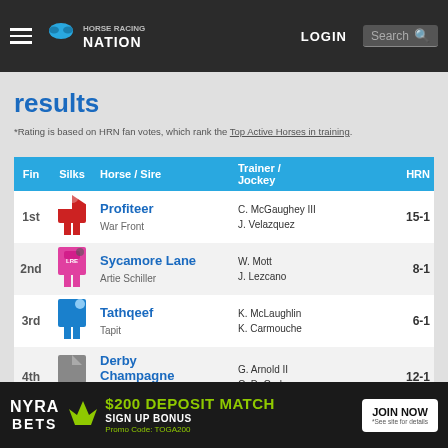Horse Racing Nation — LOGIN — Search
results
*Rating is based on HRN fan votes, which rank the Top Active Horses in training.
| Fin | Silks | Horse / Sire | Trainer / Jockey | HRN |
| --- | --- | --- | --- | --- |
| 1st | [silk] | Profiteer / War Front | C. McGaughey III / J. Velazquez | 15-1 |
| 2nd | [silk] | Sycamore Lane / Artie Schiller | W. Mott / J. Lezcano | 8-1 |
| 3rd | [silk] | Tathqeef / Tapit | K. McLaughlin / K. Carmouche | 6-1 |
| 4th | [silk] | Derby Champagne / Pulpit | G. Arnold II / C. DeCarlo | 12-1 |
| 5th | [silk] | Toughest 'Ombre / Tale of the Cat | T. Albertrani / J. Rosario | 20-1 |
| 6th | [silk] | Royal Son / Tiznow | M. Casse / M. Franco | 10-1 |
[Figure (infographic): NYRA Bets advertisement: $200 Deposit Match Sign Up Bonus, Promo Code: TOGA200, Join Now button]